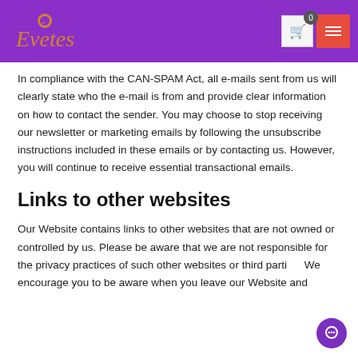Evetes — navigation header with logo, cart (0), and menu button
In compliance with the CAN-SPAM Act, all e-mails sent from us will clearly state who the e-mail is from and provide clear information on how to contact the sender. You may choose to stop receiving our newsletter or marketing emails by following the unsubscribe instructions included in these emails or by contacting us. However, you will continue to receive essential transactional emails.
Links to other websites
Our Website contains links to other websites that are not owned or controlled by us. Please be aware that we are not responsible for the privacy practices of such other websites or third parties. We encourage you to be aware when you leave our Website and